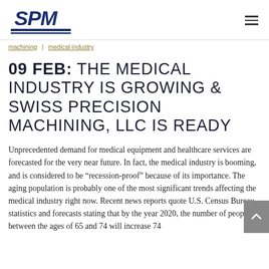SPM logo and navigation
machining | medical industry
09 FEB: THE MEDICAL INDUSTRY IS GROWING & SWISS PRECISION MACHINING, LLC IS READY
Unprecedented demand for medical equipment and healthcare services are forecasted for the very near future. In fact, the medical industry is booming, and is considered to be “recession-proof” because of its importance. The aging population is probably one of the most significant trends affecting the medical industry right now. Recent news reports quote U.S. Census Bureau statistics and forecasts stating that by the year 2020, the number of people between the ages of 65 and 74 will increase 74